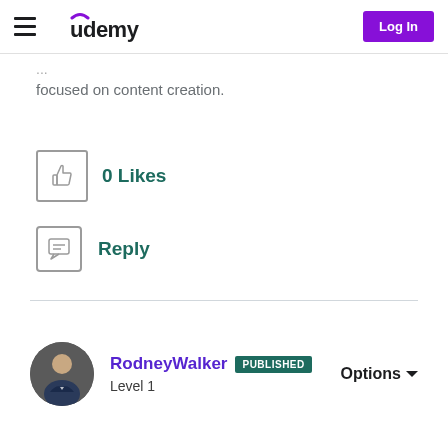Udemy — Log In
focused on content creation.
[Figure (other): Thumbs up like button with 0 Likes count]
0 Likes
[Figure (other): Reply chat bubble icon with Reply label]
Reply
RodneyWalker PUBLISHED
Level 1
Options ▼